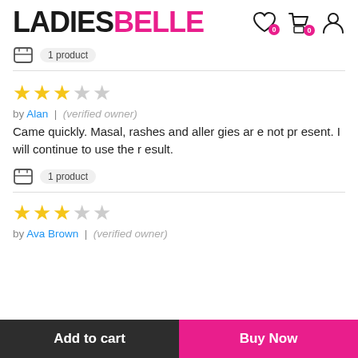LADIESBELLE
1 product
[Figure (other): 3 out of 5 stars rating]
by Alan | (verified owner)
Came quickly. Masal, rashes and allergies are not present. I will continue to use the result.
1 product
[Figure (other): 3 out of 5 stars rating]
by Ava Brown | (verified owner)
Add to cart
Buy Now